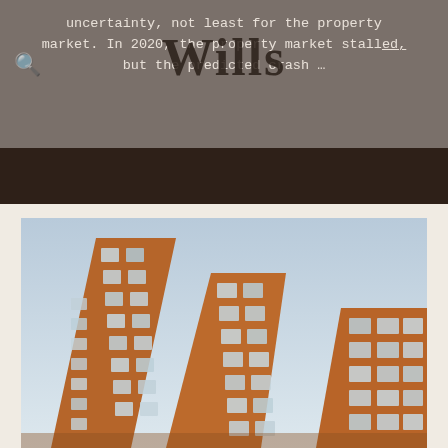uncertainty, not least for the property market. In 2020, the property market stalled, but the predicted crash …
[Figure (logo): Wills logo text overlaid on header]
[Figure (photo): Upward-angle photograph of modern red brick buildings with angular architecture and reflective windows against a light sky]